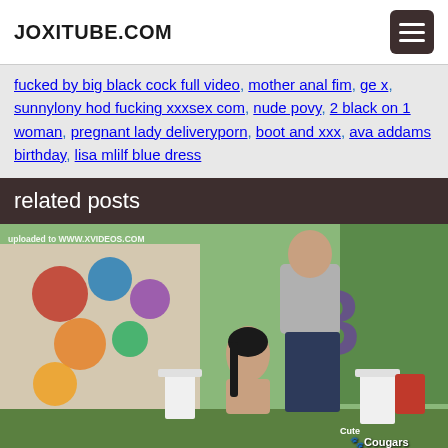JOXITUBE.COM
fucked by big black cock full video, mother anal fim, ge x, sunnylony hod fucking xxxsex com, nude povy, 2 black on 1 woman, pregnant lady deliveryporn, boot and xxx, ava addams birthday, lisa mlilf blue dress
related posts
[Figure (photo): Video thumbnail showing an outdoor birthday party scene with a woman and man, watermark reading 'uploaded to WWW.XVIDEOS.COM', Cute Cougars logo in bottom right corner]